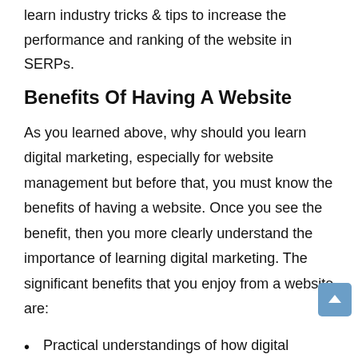learn industry tricks & tips to increase the performance and ranking of the website in SERPs.
Benefits Of Having A Website
As you learned above, why should you learn digital marketing, especially for website management but before that, you must know the benefits of having a website. Once you see the benefit, then you more clearly understand the importance of learning digital marketing. The significant benefits that you enjoy from a website are:
Practical understandings of how digital marketing works.
Advertise your service and products, if any.
Cost-effective
Connect to a huge population
Ensure online presence for 24 hours.